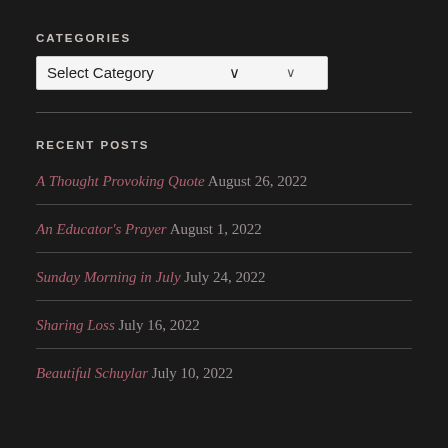CATEGORIES
[Figure (screenshot): Select Category dropdown input box]
RECENT POSTS
A Thought Provoking Quote August 26, 2022
An Educator's Prayer August 1, 2022
Sunday Morning in July July 24, 2022
Sharing Loss July 16, 2022
Beautiful Schuylar July 10, 2022